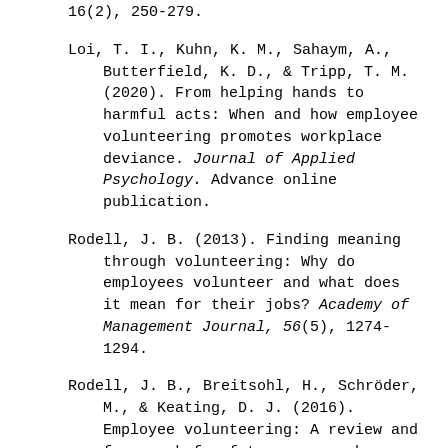16(2), 250-279.
Loi, T. I., Kuhn, K. M., Sahaym, A., Butterfield, K. D., & Tripp, T. M. (2020). From helping hands to harmful acts: When and how employee volunteering promotes workplace deviance. Journal of Applied Psychology. Advance online publication.
Rodell, J. B. (2013). Finding meaning through volunteering: Why do employees volunteer and what does it mean for their jobs? Academy of Management Journal, 56(5), 1274-1294.
Rodell, J. B., Breitsohl, H., Schröder, M., & Keating, D. J. (2016). Employee volunteering: A review and framework for future research. Journal of Management, 42(1), 55-84.
Rodell, J. B., & Lynch, J. W. (2016). Perceptions of employee volunteering: Is it “credited” or “stigmatized” by colleagues? Academy of